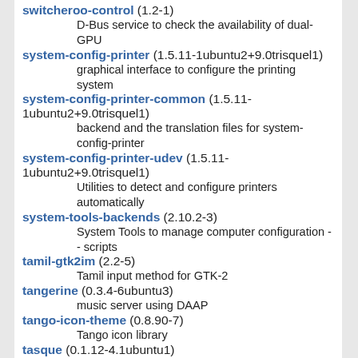switcheroo-control (1.2-1)
    D-Bus service to check the availability of dual-GPU
system-config-printer (1.5.11-1ubuntu2+9.0trisquel1)
    graphical interface to configure the printing system
system-config-printer-common (1.5.11-1ubuntu2+9.0trisquel1)
    backend and the translation files for system-config-printer
system-config-printer-udev (1.5.11-1ubuntu2+9.0trisquel1)
    Utilities to detect and configure printers automatically
system-tools-backends (2.10.2-3)
    System Tools to manage computer configuration -- scripts
tamil-gtk2im (2.2-5)
    Tamil input method for GTK-2
tangerine (0.3.4-6ubuntu3)
    music server using DAAP
tango-icon-theme (0.8.90-7)
    Tango icon library
tasque (0.1.12-4.1ubuntu1)
    simple task management application
teg (0.11.2+debian-5)
    Turn based strategy game